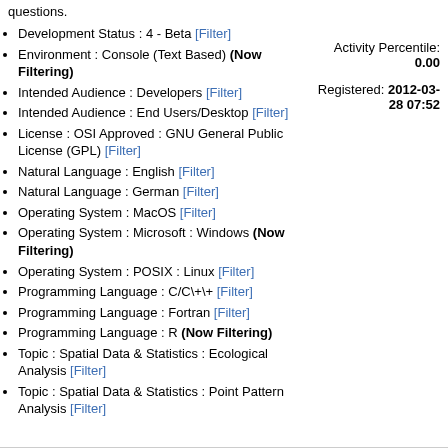questions.
Development Status : 4 - Beta [Filter]
Environment : Console (Text Based) (Now Filtering)
Intended Audience : Developers [Filter]
Intended Audience : End Users/Desktop [Filter]
License : OSI Approved : GNU General Public License (GPL) [Filter]
Natural Language : English [Filter]
Natural Language : German [Filter]
Operating System : MacOS [Filter]
Operating System : Microsoft : Windows (Now Filtering)
Operating System : POSIX : Linux [Filter]
Programming Language : C/C\+\+ [Filter]
Programming Language : Fortran [Filter]
Programming Language : R (Now Filtering)
Topic : Spatial Data & Statistics : Ecological Analysis [Filter]
Topic : Spatial Data & Statistics : Point Pattern Analysis [Filter]
Activity Percentile: 0.00
Registered: 2012-03-28 07:52